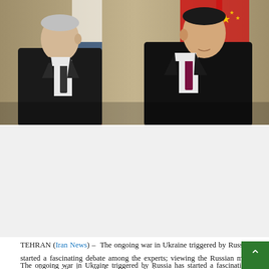[Figure (photo): Two men in dark suits shaking hands or greeting, standing in front of national flags — the Russian tricolor and the Chinese red flag with gold stars. The man on the left faces right (profile view) and the man on the right faces slightly left. Background includes curtains or tapestry.]
The ongoing war in Ukraine triggered by Russia has started a fascinating debate among the experts; viewing the Russian military operations in Ukraine will alter the complexion of international politics, and posing a grave challenge to the Western democratic values.
TEHRAN (Iran News) – The ongoing war in Ukraine triggered by Russia has started a fascinating debate among the experts; viewing the Russian military operations in Ukraine will alter the complexi...